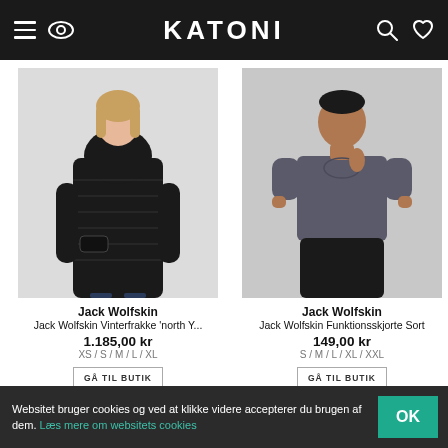KATONI
[Figure (photo): Woman wearing a long black quilted winter coat by Jack Wolfskin]
Jack Wolfskin
Jack Wolfskin Vinterfrakke 'north Y...
1.185,00 kr
XS / S / M / L / XL
GÅ TIL BUTIK
[Figure (photo): Man wearing a dark grey functional t-shirt and black shorts by Jack Wolfskin]
Jack Wolfskin
Jack Wolfskin Funktionsskjorte Sort
149,00 kr
S / M / L / XL / XXL
GÅ TIL BUTIK
Websitet bruger cookies og ved at klikke videre accepterer du brugen af dem. Læs mere om websitets cookies